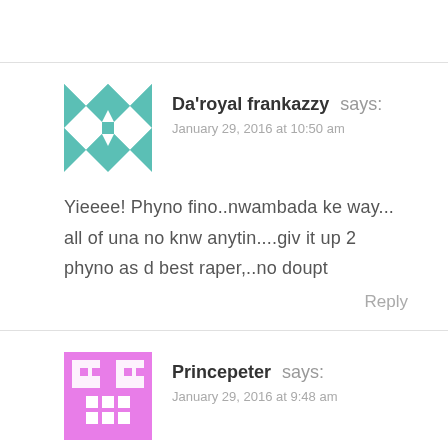Da'royal frankazzy says: January 29, 2016 at 10:50 am
Yieeee! Phyno fino..nwambada ke way... all of una no knw anytin....giv it up 2 phyno as d best raper,..no doupt
Reply
Princepeter says: January 29, 2016 at 9:48 am
I go for olamide, though pyno is doin his